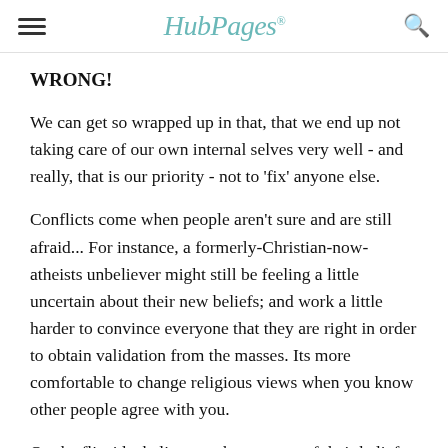HubPages
WRONG!
We can get so wrapped up in that, that we end up not taking care of our own internal selves very well - and really, that is our priority - not to 'fix' anyone else.
Conflicts come when people aren't sure and are still afraid... For instance, a formerly-Christian-now-atheists unbeliever might still be feeling a little uncertain about their new beliefs; and work a little harder to convince everyone that they are right in order to obtain validation from the masses. Its more comfortable to change religious views when you know other people agree with you.
On the flipside, believers who are sure of their beliefs